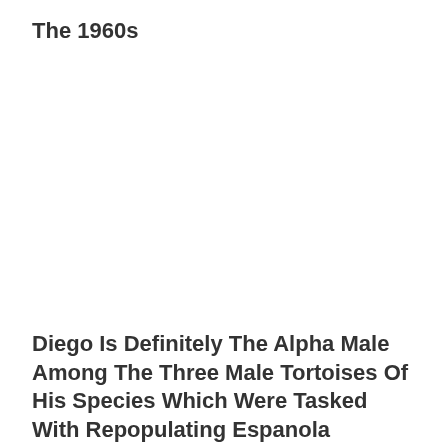The 1960s
Diego Is Definitely The Alpha Male Among The Three Male Tortoises Of His Species Which Were Tasked With Repopulating Espanola